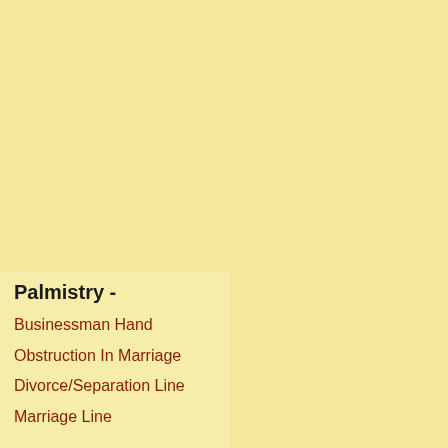Palmistry -
Businessman Hand
Obstruction In Marriage
Divorce/Separation Line
Marriage Line